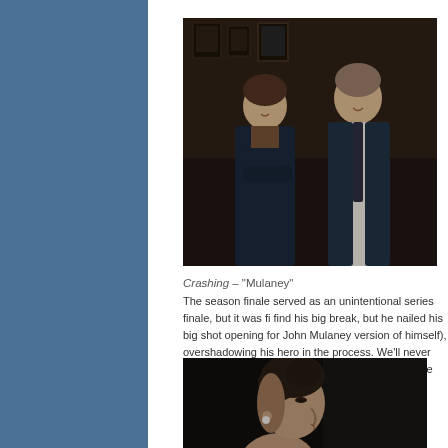[Figure (photo): Two men smiling indoors in a dimly lit bar/venue setting. The man on the left has dark hair and is wearing a dark jacket with arms crossed. The man on the right is taller, wearing a white shirt and tie, also smiling.]
Crashing – "Mulaney"
The season finale served as an unintentional series finale, but it was fi find his big break, but he nailed his big shot opening for John Mulaney version of himself), overshadowing his hero in the process. We'll never ascended the heights of the stand-up circuit, but he ended right where Ali (Jamie Lee).
[Figure (photo): A woman in profile view with dark hair styled up, wearing a pearl earring, against a dark background.]